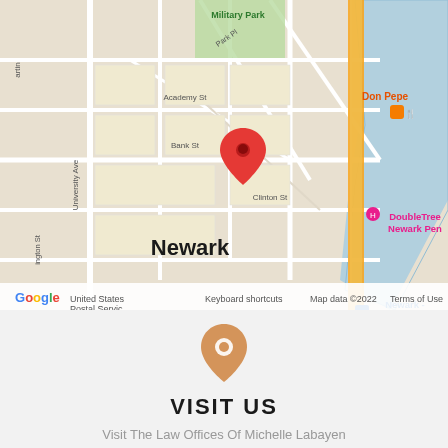[Figure (map): Google Maps showing Newark, NJ area with a red location pin near Academy St/Bank St/Clinton St intersection. Notable landmarks labeled: Military Park (green), Prudential Center (teal pin), Don Pepe (restaurant, orange), DoubleTree Newark Penn (pink), Newark Pennsylvania Station (blue), Fornos of Spain (restaurant, orange). Map data ©2022, Keyboard shortcuts, Terms of Use, United States Postal Service visible.]
[Figure (illustration): Orange/tan map location pin icon centered above VISIT US text]
VISIT US
Visit The Law Offices Of Michelle Labayen